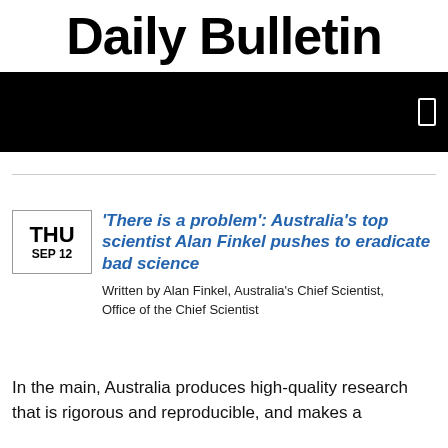Daily Bulletin
[Figure (other): Black banner/header bar with a small white rectangle icon on the right side]
'There is a problem': Australia's top scientist Alan Finkel pushes to eradicate bad science
Written by Alan Finkel, Australia's Chief Scientist, Office of the Chief Scientist
In the main, Australia produces high-quality research that is rigorous and reproducible, and makes a